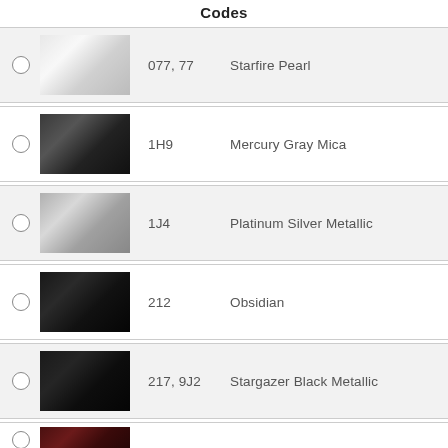Codes
077, 77  Starfire Pearl
1H9  Mercury Gray Mica
1J4  Platinum Silver Metallic
212  Obsidian
217, 9J2  Stargazer Black Metallic